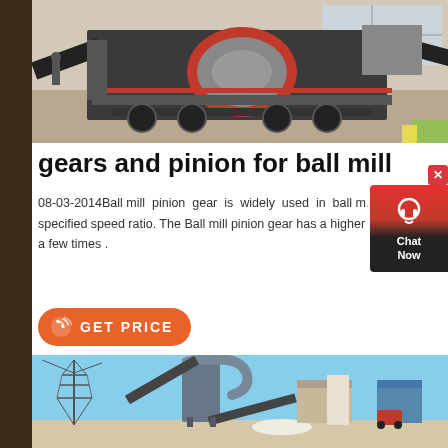[Figure (photo): Industrial ball mill mounted on a mobile trailer/truck unit, photographed in a warehouse or facility setting. Heavy machinery with cone crusher visible.]
gears and pinion for ball mill
08-03-2014Ball mill pinion gear is widely used in ball m... specified speed ratio. The Ball mill pinion gear has a higher ... a few times .
[Figure (other): GET PRICE button with phone icon, orange rounded rectangle]
[Figure (photo): Industrial ball mill/grinding plant exterior view with large cylindrical tower, conveyor belts, electricity pylon in background, blue sky.]